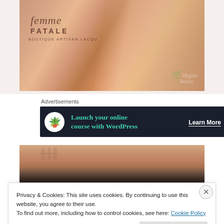[Figure (photo): Close-up photo of a hand with painted nails next to a Femme Fatale nail polish bottle. One nail has orange glitter polish, another has pink shimmer polish. A 'Vegan Beauty' watermark is visible in the lower right.]
Advertisements
[Figure (other): Advertisement banner with dark background. Text reads 'Launch your online course with WordPress' with a 'Learn More' button. There is a white circle icon with a bonsai tree.]
[Figure (photo): Partial close-up photo of fingers/nails, partially obscured by cookie consent banner.]
Privacy & Cookies: This site uses cookies. By continuing to use this website, you agree to their use.
To find out more, including how to control cookies, see here: Cookie Policy
Close and accept